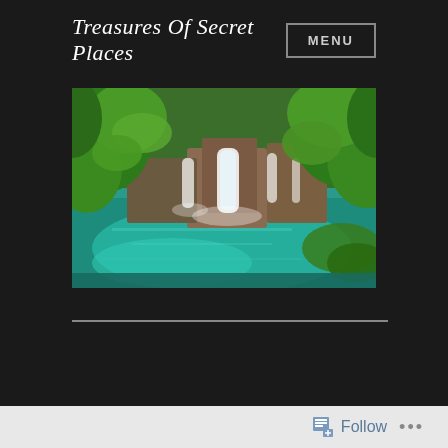Treasures Of Secret Places
[Figure (other): MENU button with border]
[Figure (photo): Panoramic nature photo showing a turquoise lake with waterfalls, lush green trees and foliage surrounding the water]
Month: May 2014
Follow ...